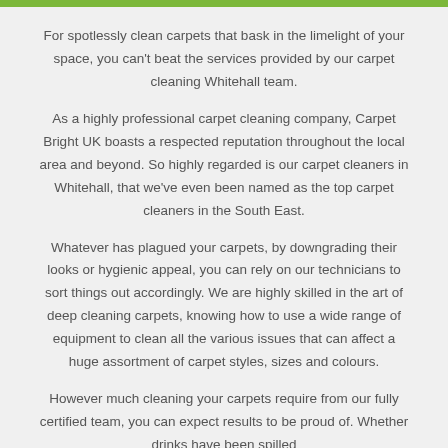For spotlessly clean carpets that bask in the limelight of your space, you can't beat the services provided by our carpet cleaning Whitehall team.
As a highly professional carpet cleaning company, Carpet Bright UK boasts a respected reputation throughout the local area and beyond. So highly regarded is our carpet cleaners in Whitehall, that we've even been named as the top carpet cleaners in the South East.
Whatever has plagued your carpets, by downgrading their looks or hygienic appeal, you can rely on our technicians to sort things out accordingly. We are highly skilled in the art of deep cleaning carpets, knowing how to use a wide range of equipment to clean all the various issues that can affect a huge assortment of carpet styles, sizes and colours.
However much cleaning your carpets require from our fully certified team, you can expect results to be proud of. Whether drinks have been spilled